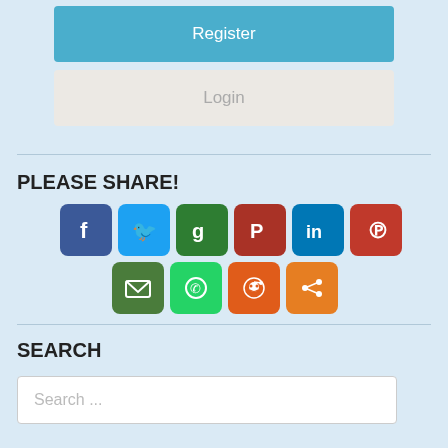Register
Login
PLEASE SHARE!
[Figure (infographic): Social share buttons: Facebook, Twitter, Google+, Parler, LinkedIn, Pinterest, Email, WhatsApp, Reddit, Share]
SEARCH
Search ...